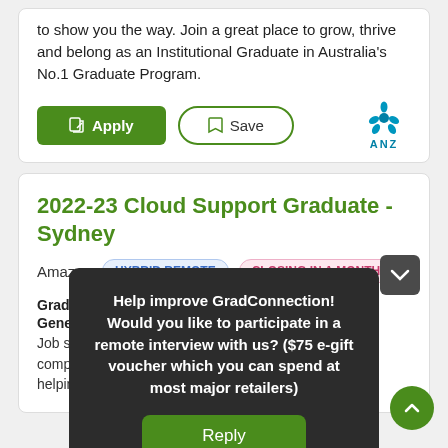to show you the way. Join a great place to grow, thrive and belong as an Institutional Graduate in Australia's No.1 Graduate Program.
[Figure (logo): ANZ bank logo with stylized blue flower/petals above the text ANZ]
2022-23 Cloud Support Graduate - Sydney
Amazon   HYBRID REMOTE   CLOSING IN A MONTH
Graduate
General
Job s... comp... helpin...
Help improve GradConnection! Would you like to participate in a remote interview with us? ($75 e-gift voucher which you can spend at most major retailers)